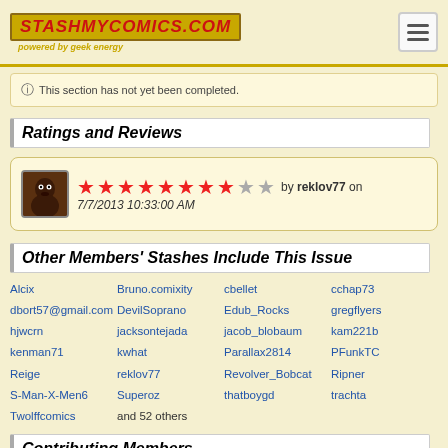StashMyComics.com powered by geek energy
This section has not yet been completed.
Ratings and Reviews
[Figure (other): User avatar with 8 out of 10 red star rating by reklov77 on 7/7/2013 10:33:00 AM]
Other Members' Stashes Include This Issue
Alcix
Bruno.comixity
cbellet
cchap73
dbort57@gmail.com
DevilSoprano
Edub_Rocks
gregflyers
hjwcrn
jacksontejada
jacob_blobaum
kam221b
kenman71
kwhat
Parallax2814
PFunkTC
Reige
reklov77
Revolver_Bobcat
Ripner
S-Man-X-Men6
Superoz
thatboygd
trachta
Twolffcomics
and 52 others
Contributing Members
aeolus 14 umbra   chipreece   stevil